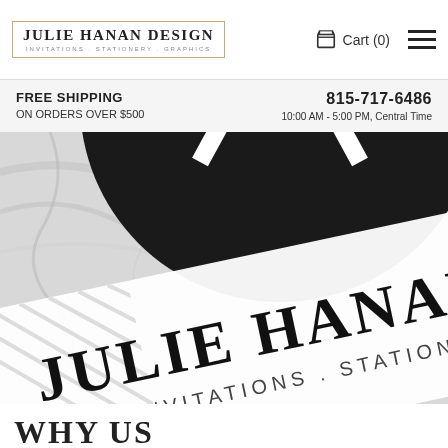JULIE HANAN DESIGN | INVITATIONS. STATIONERY. GRAPHICS. | Cart (0)
FREE SHIPPING ON ORDERS OVER $500 | 815-717-6486 | 10:00 AM - 5:00 PM, Central Time
[Figure (photo): Close-up photo of Julie Hanan Design stationery/business card on a marble surface with black circle logo element. Text visible: 'JULIE HANAN' and 'INVITATIONS . STATIONER']
WHY US